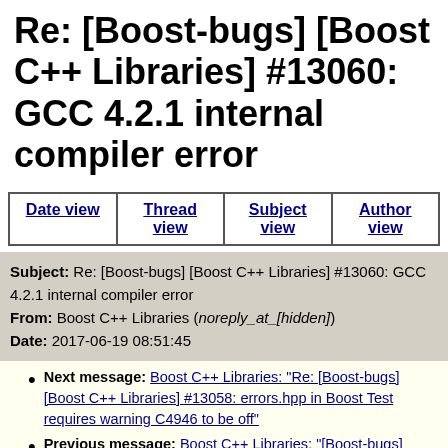Re: [Boost-bugs] [Boost C++ Libraries] #13060: GCC 4.2.1 internal compiler error
Date view | Thread view | Subject view | Author view
Subject: Re: [Boost-bugs] [Boost C++ Libraries] #13060: GCC 4.2.1 internal compiler error
From: Boost C++ Libraries (noreply_at_[hidden])
Date: 2017-06-19 08:51:45
Next message: Boost C++ Libraries: "Re: [Boost-bugs] [Boost C++ Libraries] #13058: errors.hpp in Boost Test requires warning C4946 to be off"
Previous message: Boost C++ Libraries: "[Boost-bugs] [Boost C++ Libraries] #13082: Add a way to identify the executable as a boost-test"
In reply to: Boost C++ Libraries: "[Boost-bugs] [Boost C++ Libraries] #13060: GCC 4.2.1 internal compiler error"
Next in thread: Boost C++ Libraries: "Re: [Boost-bugs]